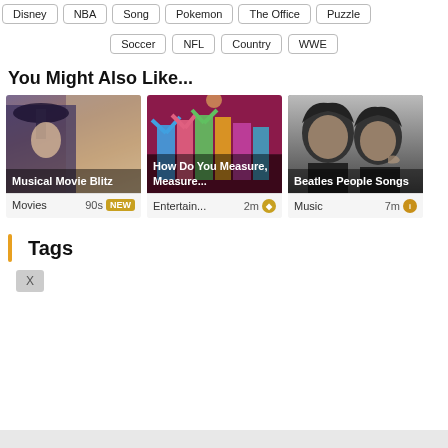Disney | NBA | Song | Pokemon | The Office | Puzzle
Soccer | NFL | Country | WWE
You Might Also Like...
[Figure (photo): Card showing Musical Movie Blitz with Mary Poppins image, Movies category, 90s tag]
[Figure (photo): Card showing How Do You Measure, Measure... with Hamilton cast image, Entertainment category, 2m time]
[Figure (photo): Card showing Beatles People Songs with Beatles black and white photo, Music category, 7m time]
Tags
X